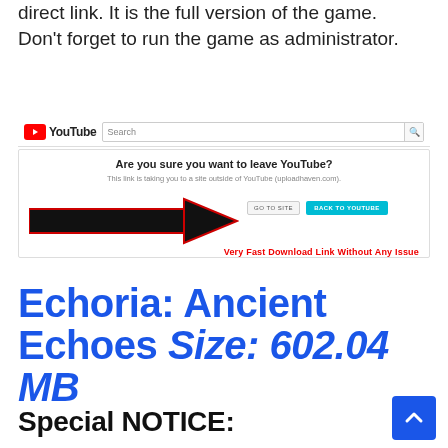direct link. It is the full version of the game. Don't forget to run the game as administrator.
[Figure (screenshot): YouTube interface showing a 'Are you sure you want to leave YouTube?' dialog with a large black arrow pointing to a 'GO TO SITE' button, and a red caption 'Very Fast Download Link Without Any Issue']
Echoria: Ancient Echoes Size: 602.04 MB
Special NOTICE: